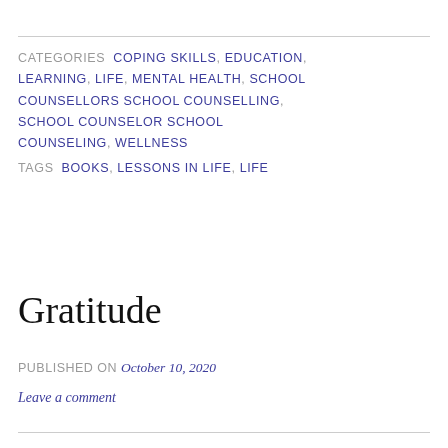CATEGORIES  COPING SKILLS, EDUCATION, LEARNING, LIFE, MENTAL HEALTH, SCHOOL COUNSELLORS SCHOOL COUNSELLING, SCHOOL COUNSELOR SCHOOL COUNSELING, WELLNESS
TAGS  BOOKS, LESSONS IN LIFE, LIFE
Gratitude
PUBLISHED ON October 10, 2020
Leave a comment